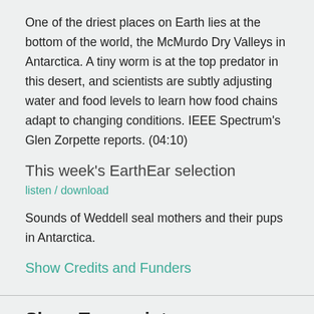One of the driest places on Earth lies at the bottom of the world, the McMurdo Dry Valleys in Antarctica. A tiny worm is at the top predator in this desert, and scientists are subtly adjusting water and food levels to learn how food chains adapt to changing conditions. IEEE Spectrum's Glen Zorpette reports. (04:10)
This week's EarthEar selection
listen / download
Sounds of Weddell seal mothers and their pups in Antarctica.
Show Credits and Funders
Show Transcript